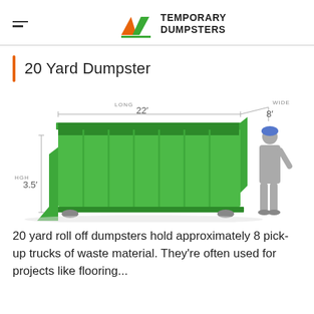Temporary Dumpsters
20 Yard Dumpster
[Figure (illustration): Green 20 yard roll-off dumpster with dimension labels: LONG 22', WIDE 8', HGH 3.5'. A human silhouette stands to the right for scale.]
20 yard roll off dumpsters hold approximately 8 pick-up trucks of waste material. They're often used for projects like flooring...